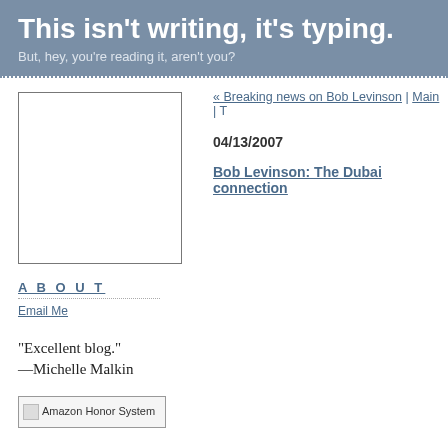This isn't writing, it's typing.
But, hey, you're reading it, aren't you?
« Breaking news on Bob Levinson | Main | T
04/13/2007
Bob Levinson: The Dubai connection
[Figure (other): Empty white rectangle with border, likely a photo placeholder]
ABOUT
Email Me
“Excellent blog.”
—Michelle Malkin
[Figure (other): Amazon Honor System button/image placeholder]